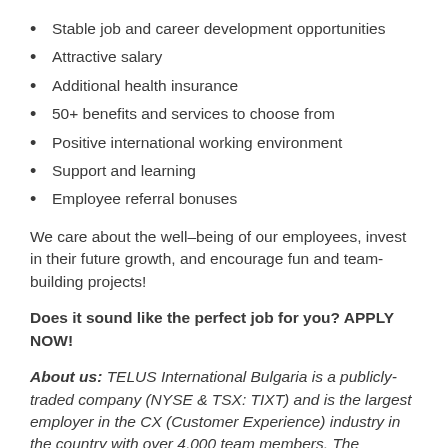Stable job and career development opportunities
Attractive salary
Additional health insurance
50+ benefits and services to choose from
Positive international working environment
Support and learning
Employee referral bonuses
We care about the well–being of our employees, invest in their future growth, and encourage fun and team-building projects!
Does it sound like the perfect job for you? APPLY NOW!
About us: TELUS International Bulgaria is a publicly-traded company (NYSE & TSX: TIXT) and is the largest employer in the CX (Customer Experience) industry in the country with over 4,000 team members. The company provides a broad portfolio of services - designing, building, and delivering next-generation digital services, AI solutions, customer experience, and much more. The company's primary focus is strict adherence to all our clients' procedures and practices. We are an independent